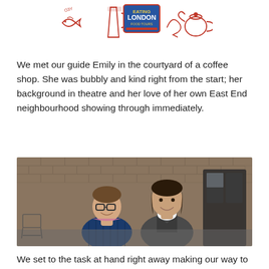[Figure (logo): Eating London Tours logo with illustrated food icons (fish, beer glass, teapot) in red and a stamp-style badge]
We met our guide Emily in the courtyard of a coffee shop. She was bubbly and kind right from the start; her background in theatre and her love of her own East End neighbourhood showing through immediately.
[Figure (photo): Two women standing together smiling in a brick courtyard outside a coffee shop. One wearing glasses and a dark blue puffer jacket, the other in a grey jacket with white collar.]
We set to the task at hand right away making our way to St.John Bread &